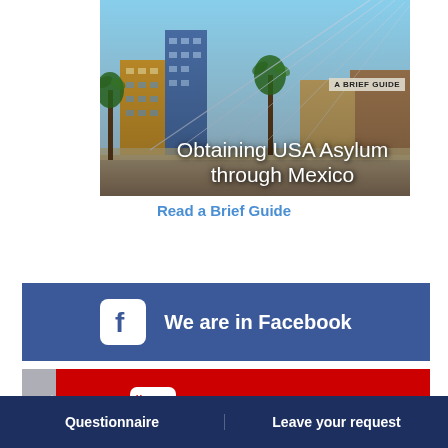[Figure (photo): Street-level city scene with palm trees, colorful buildings, and suspension cables, used as cover image for a brief guide about obtaining USA asylum through Mexico]
A BRIEF GUIDE
Obtaining USA Asylum through Mexico
Read a Brief Guide
[Figure (infographic): Facebook social media button bar with Facebook icon and text 'We are in Facebook' on dark blue background]
[Figure (infographic): YouTube social media button bar with YouTube icon and text 'We are in Youtube' on red background]
Questionnaire	Leave your request